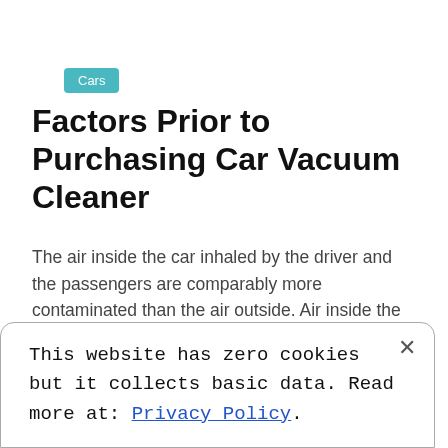Cars
Factors Prior to Purchasing Car Vacuum Cleaner
The air inside the car inhaled by the driver and the passengers are comparably more contaminated than the air outside. Air inside the car is truly dirty. This may not be a surprise especially when the car is not clean enough even if it is the rarest and most expensive car in the world. Or, [...]
This website has zero cookies but it collects basic data. Read more at: Privacy Policy.